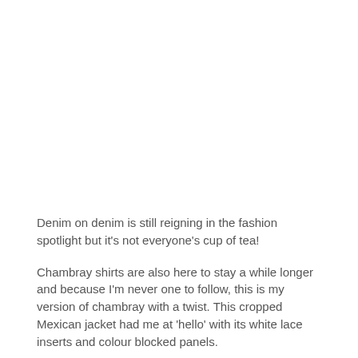Denim on denim is still reigning in the fashion spotlight but it's not everyone's cup of tea!
Chambray shirts are also here to stay a while longer and because I'm never one to follow, this is my version of chambray with a twist. This cropped Mexican jacket had me at 'hello' with its white lace inserts and colour blocked panels.